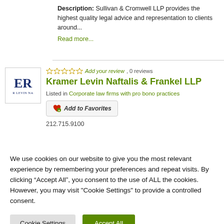Description: Sullivan & Cromwell LLP provides the highest quality legal advice and representation to clients around...
Read more...
[Figure (logo): Kramer Levin Naftalis & Frankel LLP logo with letters ER and text R LEVIN NA]
Add your review, 0 reviews
Kramer Levin Naftalis & Frankel LLP
Listed in Corporate law firms with pro bono practices
Add to Favorites
212.715.9100
We use cookies on our website to give you the most relevant experience by remembering your preferences and repeat visits. By clicking “Accept All”, you consent to the use of ALL the cookies. However, you may visit "Cookie Settings" to provide a controlled consent.
Cookie Settings
Accept All